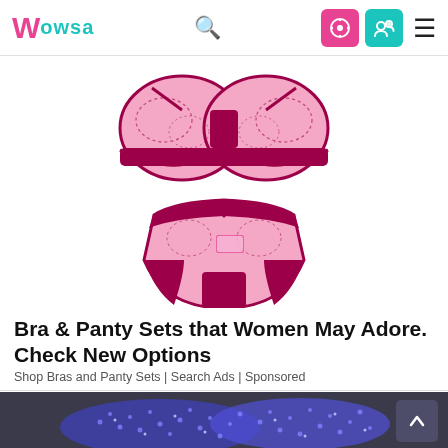Wowsa
[Figure (photo): Pink and magenta lace bra and panty set product image on white background]
Bra & Panty Sets that Women May Adore. Check New Options
Shop Bras and Panty Sets | Search Ads | Sponsored
[Figure (photo): Close-up photo of blue crystal/rhinestone covered shoes or footwear on dark background]